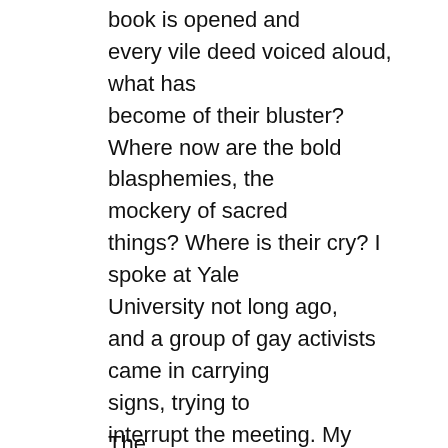book is opened and every vile deed voiced aloud, what has become of their bluster? Where now are the bold blasphemies, the mockery of sacred things? Where is their cry? I spoke at Yale University not long ago, and a group of gay activists came in carrying signs, trying to interrupt the meeting. My sermon was on hell–and as I spoke, a Holy Ghost hush fell over the place. The silence was so deafening that one reporter said, “My pencil seemed to make noise.”
The...